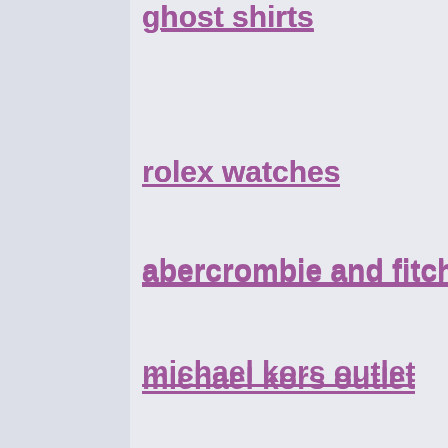ghost shirts
rolex watches
abercrombie and fitch k
michael kors outlet
polo ralph lauren
true religion outlet store